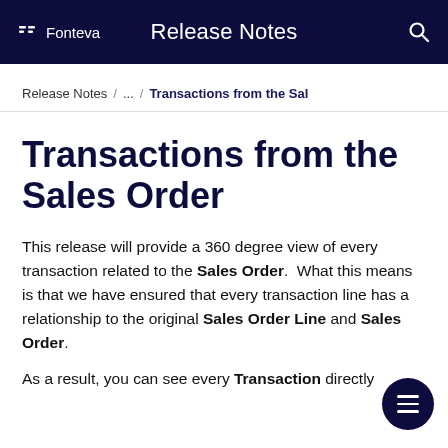Fonteva  Release Notes
Release Notes / ... / Transactions from the Sales Order
Transactions from the Sales Order
This release will provide a 360 degree view of every transaction related to the Sales Order.  What this means is that we have ensured that every transaction line has a relationship to the original Sales Order Line and Sales Order.
As a result, you can see every Transaction directly